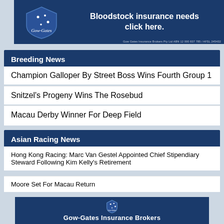[Figure (illustration): Gow-Gates Insurance Brokers banner ad with logo and text 'Bloodstock insurance needs click here.' Fine print: Gow Gates Insurance Brokers Pty Ltd ABN 12 000 837 785 / AFSL 245432]
Breeding News
Champion Galloper By Street Boss Wins Fourth Group 1
Snitzel's Progeny Wins The Rosebud
Macau Derby Winner For Deep Field
Asian Racing News
Hong Kong Racing: Marc Van Gestel Appointed Chief Stipendiary Steward Following Kim Kelly's Retirement
Moore Set For Macau Return
Shinn To Return To Melbourne
[Figure (logo): Gow-Gates Insurance Brokers logo with shield and stars, text 'Gow-Gates Insurance Brokers']